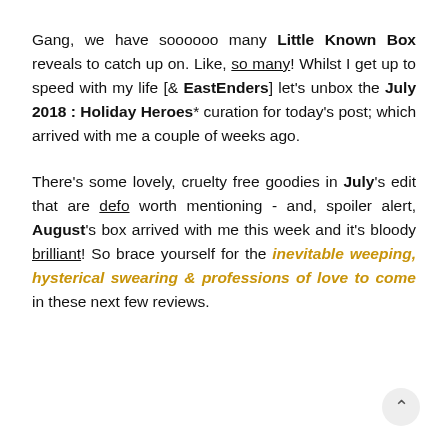Gang, we have soooooo many Little Known Box reveals to catch up on. Like, so many! Whilst I get up to speed with my life [& EastEnders] let's unbox the July 2018 : Holiday Heroes* curation for today's post; which arrived with me a couple of weeks ago.
There's some lovely, cruelty free goodies in July's edit that are defo worth mentioning - and, spoiler alert, August's box arrived with me this week and it's bloody brilliant! So brace yourself for the inevitable weeping, hysterical swearing & professions of love to come in these next few reviews.